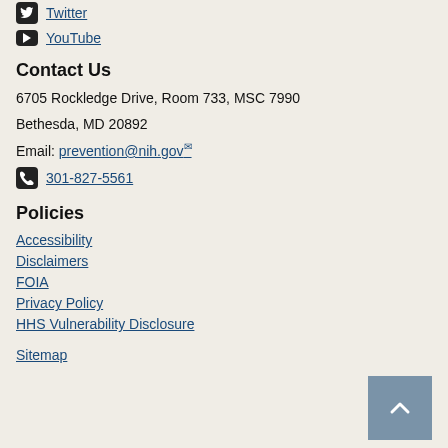Twitter
YouTube
Contact Us
6705 Rockledge Drive, Room 733, MSC 7990
Bethesda, MD 20892
Email: prevention@nih.gov
301-827-5561
Policies
Accessibility
Disclaimers
FOIA
Privacy Policy
HHS Vulnerability Disclosure
Sitemap